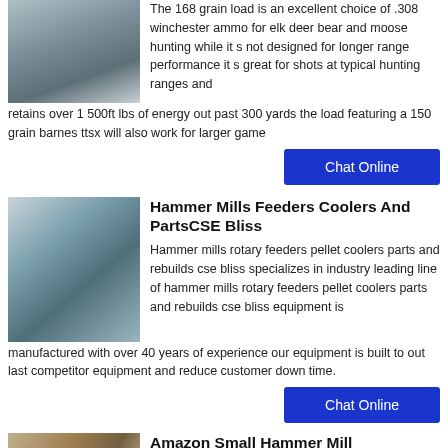[Figure (photo): Industrial mill or grain processing facility with silos and pipes]
The 168 grain load is an excellent choice of .308 winchester ammo for elk deer bear and moose hunting while it s not designed for longer range performance it s great for shots at typical hunting ranges and retains over 1 500ft lbs of energy out past 300 yards the load featuring a 150 grain barnes ttsx will also work for larger game
Chat Online
[Figure (photo): Industrial hammer mill machinery outdoors]
Hammer Mills Feeders Coolers And PartsCSE Bliss
Hammer mills rotary feeders pellet coolers parts and rebuilds cse bliss specializes in industry leading line of hammer mills rotary feeders pellet coolers parts and rebuilds cse bliss equipment is manufactured with over 40 years of experience our equipment is built to out last competitor equipment and reduce customer down time.
Chat Online
[Figure (photo): Small hammer mill machine]
Amazon Small Hammer Mill